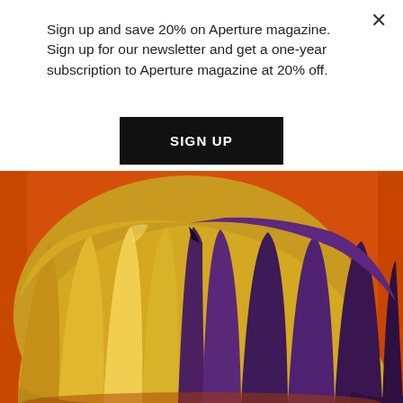Sign up and save 20% on Aperture magazine. Sign up for our newsletter and get a one-year subscription to Aperture magazine at 20% off.
[Figure (other): Black rectangular SIGN UP button on white background]
[Figure (photo): Photograph of a rounded object draped in yellow/gold and dark purple fabric against an orange background]